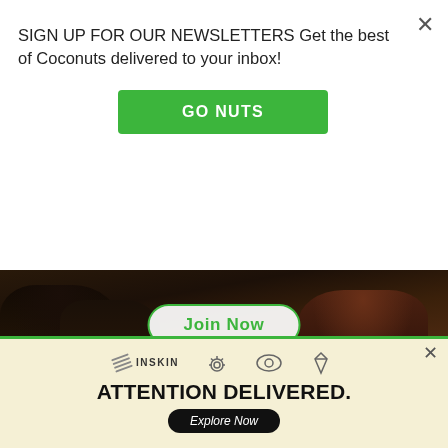SIGN UP FOR OUR NEWSLETTERS Get the best of Coconuts delivered to your inbox!
GO NUTS
[Figure (photo): Photo strip of crowd at an event with a 'Join Now' button overlay]
MOST POPULAR
At least 10 killed after truck topples
ations tower
[Figure (infographic): INSKIN advertisement banner with icons (lightbulb, eye, diamond) and text 'ATTENTION DELIVERED.' with an Explore Now button]